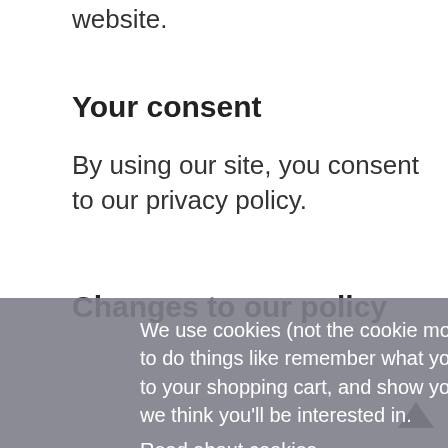website.
Your consent
By using our site, you consent to our privacy policy.
Changes to our policy
cy policy, we age. Policy nation ange. This 1, 2018.
We use cookies (not the cookie monster kind) to do things like remember what you've added to your shopping cart, and show you content we think you'll be interested in. Read about cookies
Ok